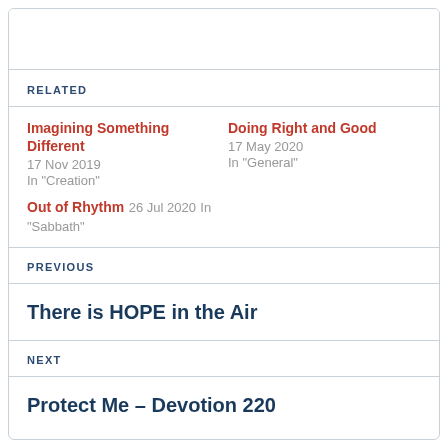RELATED
Imagining Something Different
17 Nov 2019
In "Creation"

Doing Right and Good
17 May 2020
In "General"

Out of Rhythm
26 Jul 2020
In "Sabbath"
PREVIOUS
There is HOPE in the Air
NEXT
Protect Me – Devotion 220